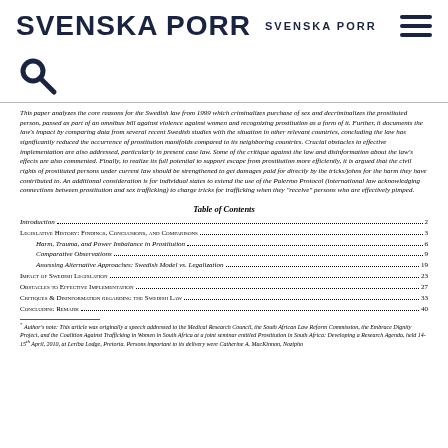SVENSKA PORR   SVENSKA PORR
This paper analyzes the core reasons for the Swedish law from 1999 which criminalizes purchase of sex and decriminalizes the prostituted person, passed as part of an omnibus bill against violence against women and recognizing prostitution as a form of it. Further, it documents the law's impact by comparing data from several recent Swedish studies with the situation in other relevant countries, concluding the law has significantly reduced the occurrence of prostitution manifolds compared to its neighboring countries. Crucial obstacles to effective implementation are also addressed, particularly in present case law. Some of the critique against the law and disinformation about the law's effects are also commented. Finally, to realize its full potential to support escape from prostitution more efficiently, it is argued that the civil rights of prostituted persons under current law should be strengthened to get damages paid for directly by the tricks/johns for the harm they have contributed to. An additional consideration is for individual states to extend the use of the Palermo Protocol (international law acknowledging connections between prostitution and sex trafficking) to charge tricks for trafficking when they "receive" persons who are effectively pimped.
Table of Contents
Introduction 2
Legislative History: Findings, Conclusions, and Comparisons 3
Harm, Trauma, and Power Imbalance in Prostitution 6
Comparative Observations 9
Assessing Alternative Approaches: Swedish Model vs. Legalization 19
Impact of Swedish Legislation 23
Obstacles to Effective Implementation 27
Critiques & Disinformation regarding the Swedish Law 33
Concluding Remark 40
* Author's note: This article was originally a speech addressed to the Medical Research Council, the South African Law Reform Commission, the Embrace Dignity Project, and the Coalition Against Trafficking in Women in South Africa at a joint seminar entitled Prostitution in South Africa: Developing a Research Agenda, held 14-15th April, 2010, at Leriba Lodge, Pretoria. Persons important to its delivery were Catherine A. MacKinnon, Nozipho